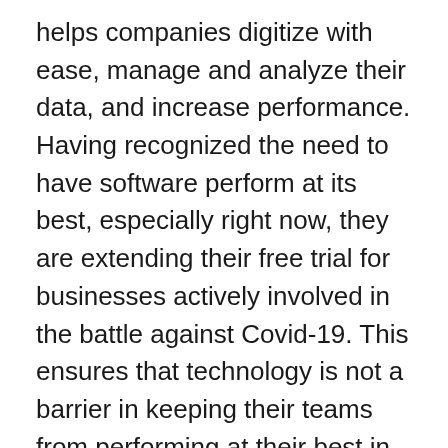helps companies digitize with ease, manage and analyze their data, and increase performance. Having recognized the need to have software perform at its best, especially right now, they are extending their free trial for businesses actively involved in the battle against Covid-19. This ensures that technology is not a barrier in keeping their teams from performing at their best in the coming days.
In the state of global turmoil and economic uncertainty, winning the fight against Covid-19 has become the world's top priority.
With innovation and research taking place at record speed, it is imperative that technology and finance...